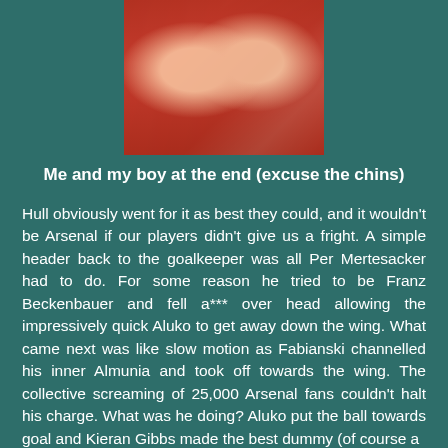[Figure (photo): Two people wearing red Arsenal football shirts, a selfie-style photo showing their faces and upper bodies]
Me and my boy at the end (excuse the chins)
Hull obviously went for it as best they could, and it wouldn't be Arsenal if our players didn't give us a fright. A simple header back to the goalkeeper was all Per Mertesacker had to do. For some reason he tried to be Franz Beckenbauer and fell a*** over head allowing the impressively quick Aluko to get away down the wing. What came next was like slow motion as Fabianski channelled his inner Almunia and took off towards the wing. The collective screaming of 25,000 Arsenal fans couldn't halt his charge. What was he doing? Aluko put the ball towards goal and Kieran Gibbs made the best dummy (of course a